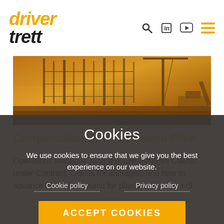driver trett
[Figure (photo): Construction site panoramic photo showing excavators, cranes, scaffolding and earth works in orange/golden hour lighting]
Compensation for Idling Owned Plant
Operations Manager Jung-guk Lee explores Claims under Contract; Claims for damages; and how to advance hire value claims for plants in the event of
Cookies
We use cookies to ensure that we give you the best experience on our website.
Cookie policy    Privacy policy
ACCEPT COOKIES